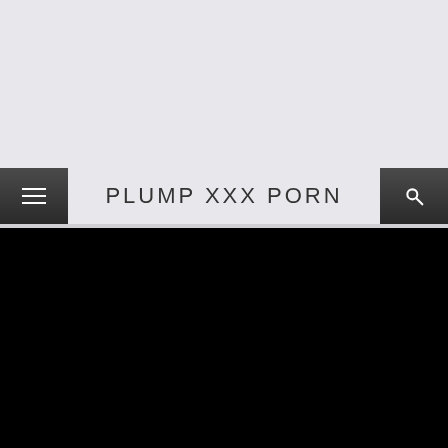PLUMP XXX PORN
[Figure (screenshot): Black content area below navigation bar]